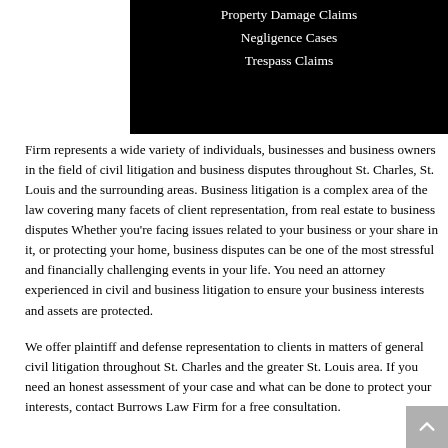Property Damage Claims
Negligence Cases
Trespass Claims
Firm represents a wide variety of individuals, businesses and business owners in the field of civil litigation and business disputes throughout St. Charles, St. Louis and the surrounding areas. Business litigation is a complex area of the law covering many facets of client representation, from real estate to business disputes Whether you're facing issues related to your business or your share in it, or protecting your home, business disputes can be one of the most stressful and financially challenging events in your life. You need an attorney experienced in civil and business litigation to ensure your business interests and assets are protected.
We offer plaintiff and defense representation to clients in matters of general civil litigation throughout St. Charles and the greater St. Louis area. If you need an honest assessment of your case and what can be done to protect your interests, contact Burrows Law Firm for a free consultation.